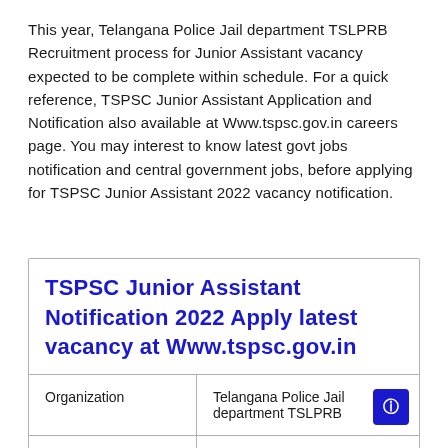This year, Telangana Police Jail department TSLPRB Recruitment process for Junior Assistant vacancy expected to be complete within schedule. For a quick reference, TSPSC Junior Assistant Application and Notification also available at Www.tspsc.gov.in careers page. You may interest to know latest govt jobs notification and central government jobs, before applying for TSPSC Junior Assistant 2022 vacancy notification.
|  |  |
| --- | --- |
| TSPSC Junior Assistant Notification 2022 Apply latest vacancy at Www.tspsc.gov.in |  |
| Organization | Telangana Police Jail department TSLPRB |
| Vacancy name | Junior Assistant |